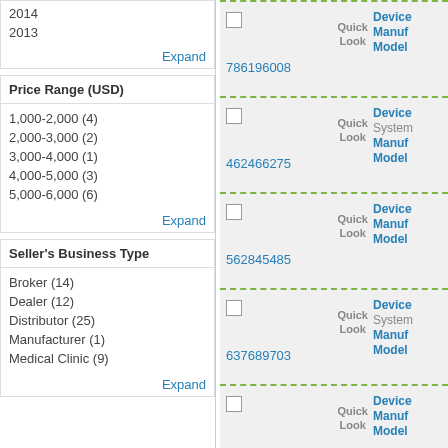2014
2013
Expand
Price Range (USD)
1,000-2,000 (4)
2,000-3,000 (2)
3,000-4,000 (1)
4,000-5,000 (3)
5,000-6,000 (6)
Expand
Seller's Business Type
Broker (14)
Dealer (12)
Distributor (25)
Manufacturer (1)
Medical Clinic (9)
Expand
786196008 | Device | Manuf | Model | Quick Look
462466275 | Device | System | Manuf | Model | Quick Look
562845485 | Device | Manuf | Model | Quick Look
637689703 | Device | System | Manuf | Model | Quick Look
Device | Manuf | Model | Quick Look